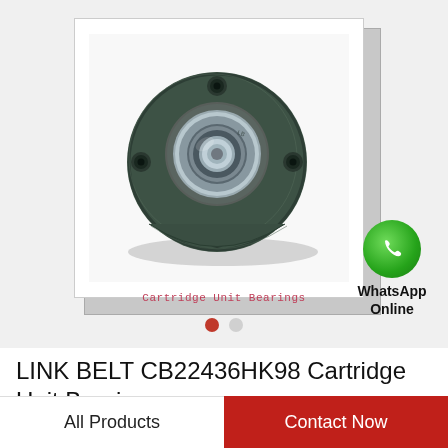[Figure (photo): A green cast iron cartridge unit bearing (flange-type, round with four bolt holes) with a center ball bearing insert. Displayed on white background inside a framed box with shadow.]
Cartridge Unit Bearings
LINK BELT CB22436HK98 Cartridge Unit Bearings
All Products
Contact Now